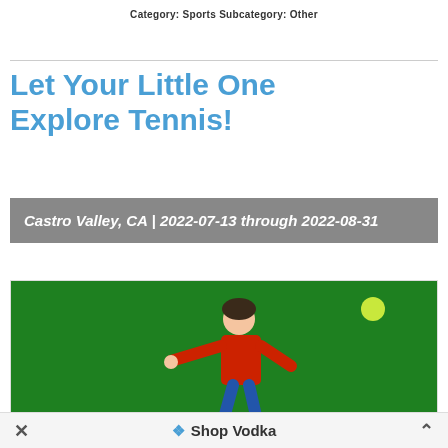Category: Sports Subcategory: Other
Let Your Little One Explore Tennis!
Castro Valley, CA | 2022-07-13 through 2022-08-31
[Figure (photo): Child in a red shirt playing tennis on a green background, with a tennis ball in the air]
Shop Vodka